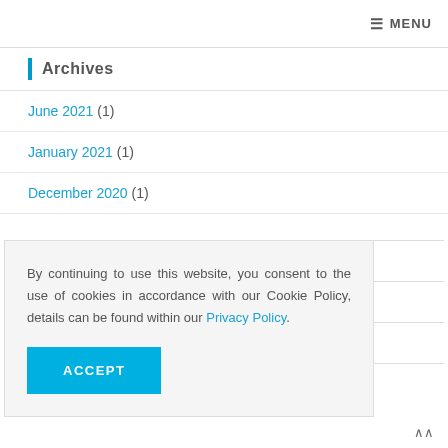MENU
Archives
June 2021 (1)
January 2021 (1)
December 2020 (1)
By continuing to use this website, you consent to the use of cookies in accordance with our Cookie Policy, details can be found within our Privacy Policy.
ACCEPT